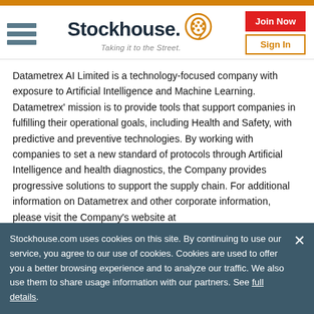[Figure (logo): Stockhouse logo with hamburger menu, logo text, tagline 'Taking it to the Street.', Join Now button, and Sign In button]
Datametrex AI Limited is a technology-focused company with exposure to Artificial Intelligence and Machine Learning. Datametrex' mission is to provide tools that support companies in fulfilling their operational goals, including Health and Safety, with predictive and preventive technologies. By working with companies to set a new standard of protocols through Artificial Intelligence and health diagnostics, the Company provides progressive solutions to support the supply chain. For additional information on Datametrex and other corporate information, please visit the Company's website at w[obscured]
Fo[partially obscured]
In[partially obscured]
K[partially obscured]
Stockhouse.com uses cookies on this site. By continuing to use our service, you agree to our use of cookies. Cookies are used to offer you a better browsing experience and to analyze our traffic. We also use them to share usage information with our partners. See full details.